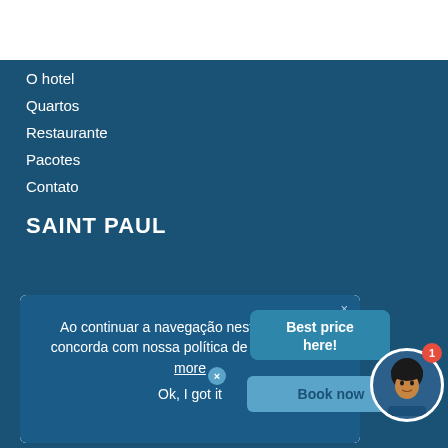O hotel
Quartos
Restaurante
Pacotes
Contato
SAINT PAUL
Ao continuar a navegação neste site você concorda com nossa política de dados Learn more
Ok, I got it
Best price here!
Book now